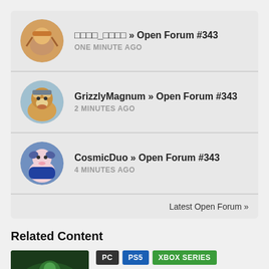□□□□_□□□□ » Open Forum #343 — ONE MINUTE AGO
GrizzlyMagnum » Open Forum #343 — 2 MINUTES AGO
CosmicDuo » Open Forum #343 — 4 MINUTES AGO
Latest Open Forum »
Related Content
[Figure (screenshot): Game screenshot thumbnail with green/dark tones]
PC  PS5  XBOX SERIES
6 HOURS AGO  76